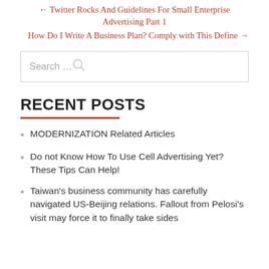← Twitter Rocks And Guidelines For Small Enterprise Advertising Part 1
How Do I Write A Business Plan? Comply with This Define →
Search …
RECENT POSTS
MODERNIZATION Related Articles
Do not Know How To Use Cell Advertising Yet? These Tips Can Help!
Taiwan's business community has carefully navigated US-Beijing relations. Fallout from Pelosi's visit may force it to finally take sides